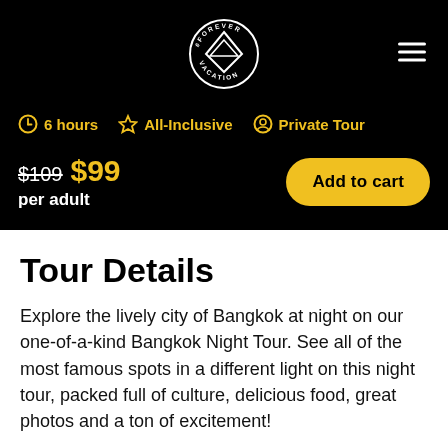[Figure (logo): Forever Vacation logo — circular badge with diamond/downward triangle shape and text around it, white on black background]
6 hours   All-Inclusive   Private Tour
$109 $99 per adult
Add to cart
Tour Details
Explore the lively city of Bangkok at night on our one-of-a-kind Bangkok Night Tour. See all of the most famous spots in a different light on this night tour, packed full of culture, delicious food, great photos and a ton of excitement!